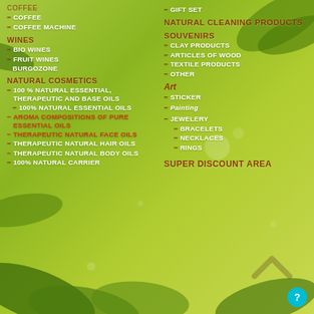COFFEE
COFFEE MACHINE
WINES
BIO WINES
FRUIT WINES
BURGOZONE
NATURAL COSMETICS
100 % NATURAL ESSENTIAL, THERAPEUTIC AND BASE OILS
100% NATURAL ESSENTIAL OILS
AROMA COMPOSITIONS OF PURE ESSENTIAL OILS
THERAPEUTIC NATURAL FACE OILS
THERAPEUTIC NATURAL HAIR OILS
THERAPEUTIC NATURAL BODY OILS
100% NATURAL CARRIER
GIFT SET
NATURAL CLEANING PRODUCTS
SOUVENIRS
CLAY PRODUCTS
ARTICLES OF WOOD
TEXTILE PRODUCTS
OTHER
Art
STICKER
Painting
JEWELERY
BRACELETS
NECKLACES
RINGS
SUPER DISCOUNT AREA